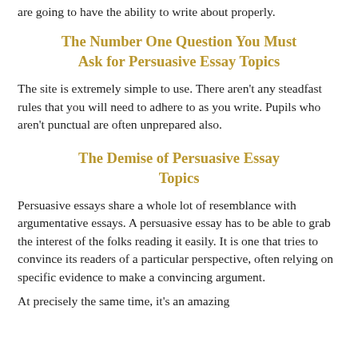are going to have the ability to write about properly.
The Number One Question You Must Ask for Persuasive Essay Topics
The site is extremely simple to use. There aren't any steadfast rules that you will need to adhere to as you write. Pupils who aren't punctual are often unprepared also.
The Demise of Persuasive Essay Topics
Persuasive essays share a whole lot of resemblance with argumentative essays. A persuasive essay has to be able to grab the interest of the folks reading it easily. It is one that tries to convince its readers of a particular perspective, often relying on specific evidence to make a convincing argument.
At precisely the same time, it's an amazing